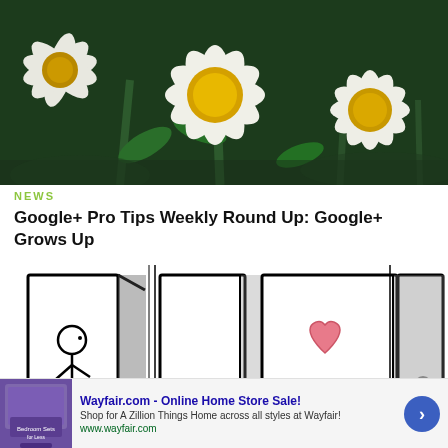[Figure (photo): Close-up photograph of white daisy flowers with yellow centers against a dark green background]
NEWS
Google+ Pro Tips Weekly Round Up: Google+ Grows Up
[Figure (illustration): Cartoon stick figure illustration showing three panels: a stick figure looking at an open door, a closed door, and a door with a heart symbol]
[Figure (screenshot): Advertisement banner for Wayfair.com - Online Home Store Sale! Shop for A Zillion Things Home across all styles at Wayfair! www.wayfair.com]